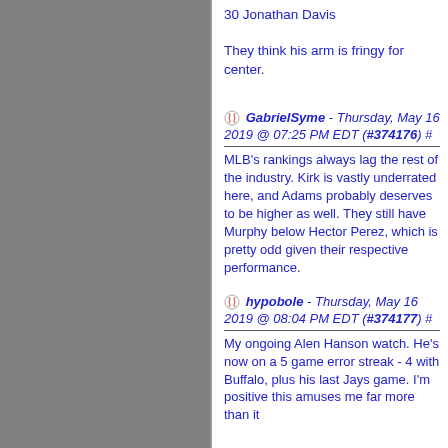30 Jonathan Davis

They think his arm is fringy for center.
GabrielSyme - Thursday, May 16 2019 @ 07:25 PM EDT (#374176) #
MLB's rankings always lag the rest of the industry. Kirk is vastly underrated here, and Adams probably deserves to be higher as well. They still have Murphy below Hector Perez, which is pretty odd given their respective performance.
hypobole - Thursday, May 16 2019 @ 08:04 PM EDT (#374177) #
My ongoing Alen Hanson watch. He's now on a 5 game error streak - 4 with Buffalo, plus his last Jays game. I'm positive this amuses me far more than it